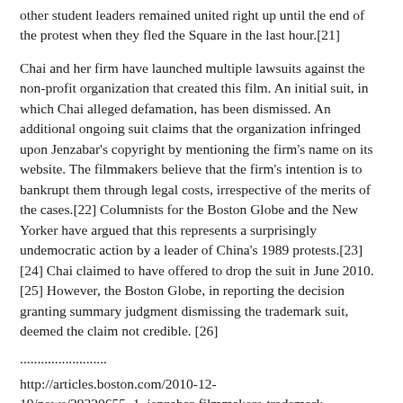other student leaders remained united right up until the end of the protest when they fled the Square in the last hour.[21]
Chai and her firm have launched multiple lawsuits against the non-profit organization that created this film. An initial suit, in which Chai alleged defamation, has been dismissed. An additional ongoing suit claims that the organization infringed upon Jenzabar's copyright by mentioning the firm's name on its website. The filmmakers believe that the firm's intention is to bankrupt them through legal costs, irrespective of the merits of the cases.[22] Columnists for the Boston Globe and the New Yorker have argued that this represents a surprisingly undemocratic action by a leader of China's 1989 protests.[23][24] Chai claimed to have offered to drop the suit in June 2010.[25] However, the Boston Globe, in reporting the decision granting summary judgment dismissing the trademark suit, deemed the claim not credible. [26]
.........................
http://articles.boston.com/2010-12-19/news/29320655_1_jenzabar-filmmakers-trademark-